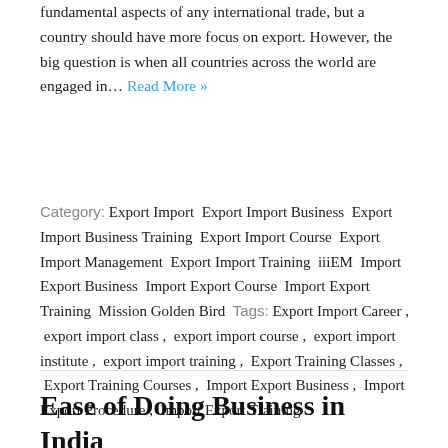fundamental aspects of any international trade, but a country should have more focus on export. However, the big question is when all countries across the world are engaged in… Read More »
Category: Export Import  Export Import Business  Export Import Business Training  Export Import Course  Export Import Management  Export Import Training  iiiEM  Import Export Business  Import Export Course  Import Export Training  Mission Golden Bird  Tags: Export Import Career ,  export import class ,  export import course ,  export import institute ,  export import training ,  Export Training Classes ,  Export Training Courses ,  Import Export Business ,  Import Export Procedure ,  Import Export Training
Ease of Doing Business in India